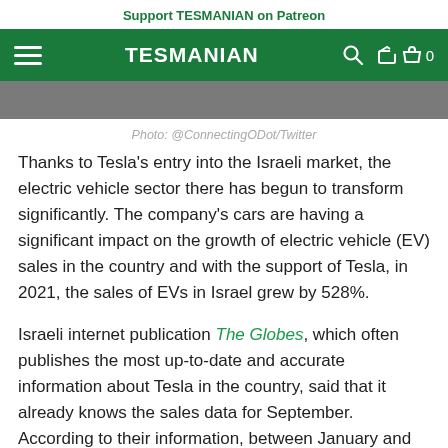Support TESMANIAN on Patreon
TESMANIAN
[Figure (photo): Top portion of a photo visible at the top of the page, appears to be a Tesla vehicle or related scene]
Photo: @ConnectingODot/Twitter
Thanks to Tesla's entry into the Israeli market, the electric vehicle sector there has begun to transform significantly. The company's cars are having a significant impact on the growth of electric vehicle (EV) sales in the country and with the support of Tesla, in 2021, the sales of EVs in Israel grew by 528%.
Israeli internet publication The Globes, which often publishes the most up-to-date and accurate information about Tesla in the country, said that it already knows the sales data for September. According to their information, between January and September 2021, Tesla delivered 4,000…